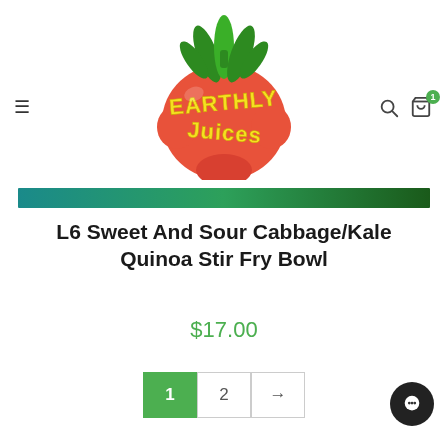[Figure (logo): Earthly Juices logo — a stylized red tomato character with green leafy top and yellow retro lettering reading 'Earthly Juices']
L6 Sweet And Sour Cabbage/Kale Quinoa Stir Fry Bowl
$17.00